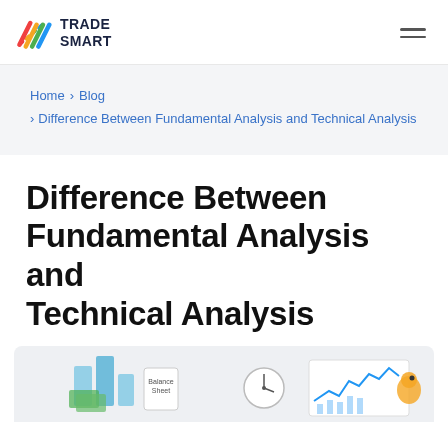TRADE SMART
Home > Blog > Difference Between Fundamental Analysis and Technical Analysis
Difference Between Fundamental Analysis and Technical Analysis
[Figure (illustration): Illustration showing financial documents, a clock, and a stock chart representing fundamental and technical analysis concepts]